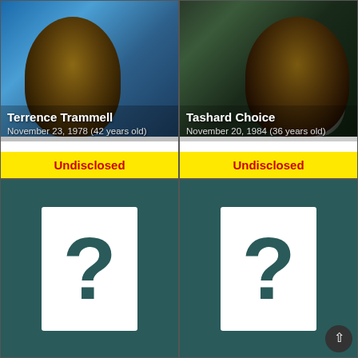[Figure (photo): Photo of Terrence Trammell, football player, close-up face shot with blue background]
Terrence Trammell
November 23, 1978 (42 years old)
Undisclosed
[Figure (photo): Photo of Tashard Choice, football player, wearing white/navy jersey on field at night]
Tashard Choice
November 20, 1984 (36 years old)
Undisclosed
[Figure (illustration): Teal background with white box containing a dark teal question mark, representing unknown/undisclosed player info]
[Figure (illustration): Teal background with white box containing a dark teal question mark, representing unknown/undisclosed player info]